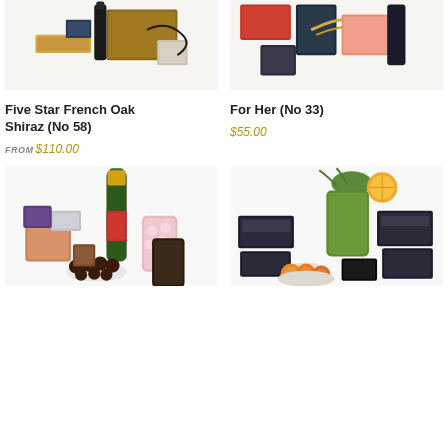[Figure (photo): Gift hamper with wine bottle, chocolates and food items on white background - Five Star French Oak Shiraz (No 58)]
[Figure (photo): Gift hamper with snacks, nuts and treats on white background - For Her (No 33)]
Five Star French Oak Shiraz (No 58)
For Her (No 33)
FROM $110.00
$55.00
[Figure (photo): Champagne bottle with chocolates, biscuits and confectionery on white background]
[Figure (photo): Gourmet food hamper with dried fruits, nuts, snacks and various packaged goods on white background]